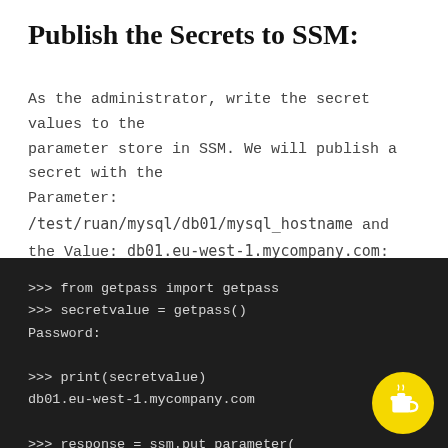Publish the Secrets to SSM:
As the administrator, write the secret values to the parameter store in SSM. We will publish a secret with the Parameter: /test/ruan/mysql/db01/mysql_hostname and the Value: db01.eu-west-1.mycompany.com:
[Figure (screenshot): Dark-background Python interactive session showing: >>> from getpass import getpass, >>> secretvalue = getpass(), Password:, >>> print(secretvalue), db01.eu-west-1.mycompany.com, >>> response = ssm.put_parameter(, Name='/test/ruan/mysql/db01/mysql_, Description='RuanTest MySQL Hostnam, Value=secretvalue,]